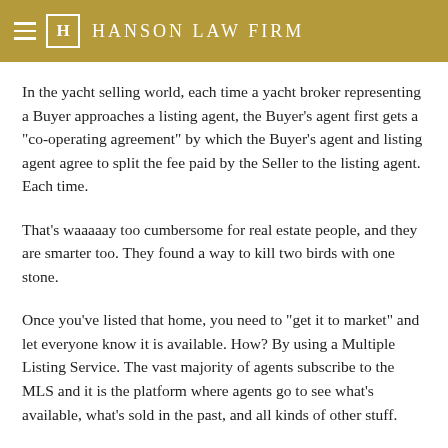HANSON LAW FIRM
In the yacht selling world, each time a yacht broker representing a Buyer approaches a listing agent, the Buyer's agent first gets a "co-operating agreement" by which the Buyer's agent and listing agent agree to split the fee paid by the Seller to the listing agent. Each time.
That's waaaaay too cumbersome for real estate people, and they are smarter too. They found a way to kill two birds with one stone.
Once you've listed that home, you need to "get it to market" and let everyone know it is available. How? By using a Multiple Listing Service. The vast majority of agents subscribe to the MLS and it is the platform where agents go to see what's available, what's sold in the past, and all kinds of other stuff.